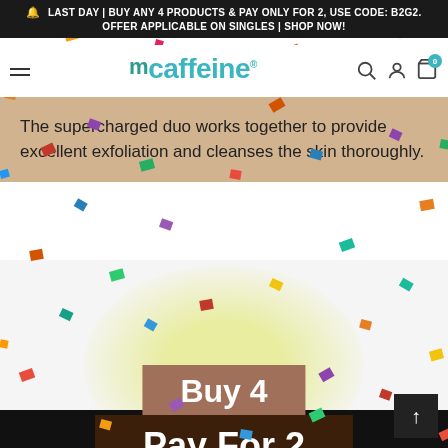🔔 LAST DAY | BUY ANY 4 PRODUCTS & PAY ONLY FOR 2, USE CODE: B2G2. OFFER APPLICABLE ON SINGLES | SHOP NOW!
[Figure (logo): mCaffeine logo with teal colored text and stylized m on top]
The supercharged duo works together to provide excellent exfoliation and cleanses the skin thoroughly.
[Figure (infographic): Promotional graphic showing Buy 4 Pay For 2 offer with confetti and a yellowish circular glow element in the background. Text reads 'Buy 4' on a brown banner and 'Pay For 2' on a dark brown banner.]